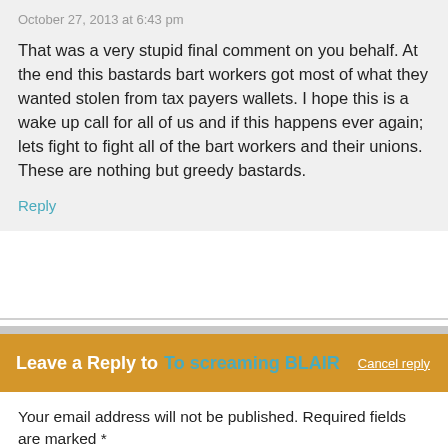October 27, 2013 at 6:43 pm
That was a very stupid final comment on you behalf. At the end this bastards bart workers got most of what they wanted stolen from tax payers wallets. I hope this is a wake up call for all of us and if this happens ever again; lets fight to fight all of the bart workers and their unions. These are nothing but greedy bastards.
Reply
Leave a Reply to To screaming BLAIR Cancel reply
Your email address will not be published. Required fields are marked *
Comment *